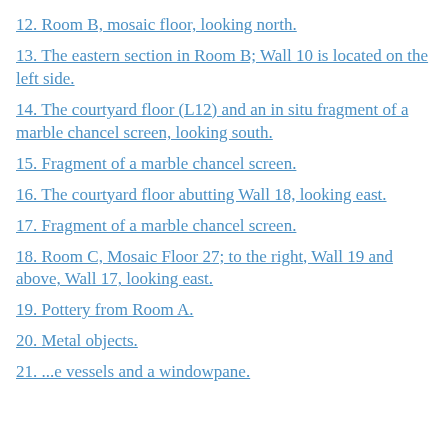12. Room B, mosaic floor, looking north.
13. The eastern section in Room B; Wall 10 is located on the left side.
14. The courtyard floor (L12) and an in situ fragment of a marble chancel screen, looking south.
15. Fragment of a marble chancel screen.
16. The courtyard floor abutting Wall 18, looking east.
17. Fragment of a marble chancel screen.
18. Room C, Mosaic Floor 27; to the right, Wall 19 and above, Wall 17, looking east.
19. Pottery from Room A.
20. Metal objects.
21. ...e vessels and a windowpane.